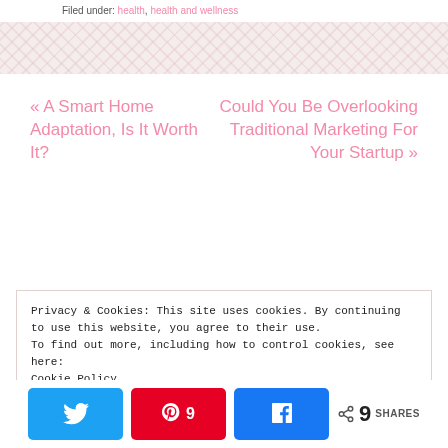Filed under: health, health and wellness
« A Smart Home Adaptation, Is It Worth It?
Could You Be Overlooking Traditional Marketing For Your Startup »
Privacy & Cookies: This site uses cookies. By continuing to use this website, you agree to their use.
To find out more, including how to control cookies, see here: Cookie Policy
9 SHARES